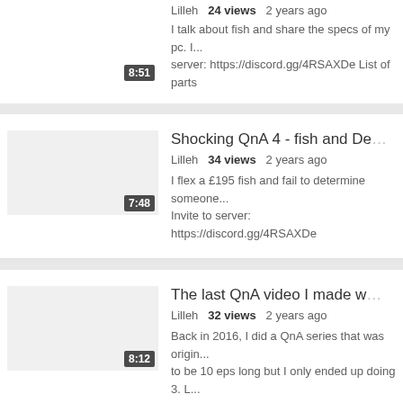Lilleh   24 views   2 years ago
I talk about fish and share the specs of my pc. I... server: https://discord.gg/4RSAXDe List of parts...
[Figure (screenshot): Video thumbnail with duration badge 8:51]
Shocking QnA 4 - fish and De...
Lilleh   34 views   2 years ago
I flex a £195 fish and fail to determine someone... Invite to server: https://discord.gg/4RSAXDe
[Figure (screenshot): Video thumbnail with duration badge 7:48]
The last QnA video I made w...
Lilleh   32 views   2 years ago
Back in 2016, I did a QnA series that was originally to be 10 eps long but I only ended up doing 3. L...
[Figure (screenshot): Video thumbnail with duration badge 8:12]